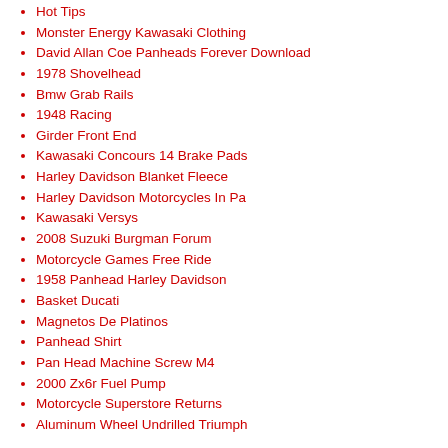Hot Tips
Monster Energy Kawasaki Clothing
David Allan Coe Panheads Forever Download
1978 Shovelhead
Bmw Grab Rails
1948 Racing
Girder Front End
Kawasaki Concours 14 Brake Pads
Harley Davidson Blanket Fleece
Harley Davidson Motorcycles In Pa
Kawasaki Versys
2008 Suzuki Burgman Forum
Motorcycle Games Free Ride
1958 Panhead Harley Davidson
Basket Ducati
Magnetos De Platinos
Panhead Shirt
Pan Head Machine Screw M4
2000 Zx6r Fuel Pump
Motorcycle Superstore Returns
Aluminum Wheel Undrilled Triumph